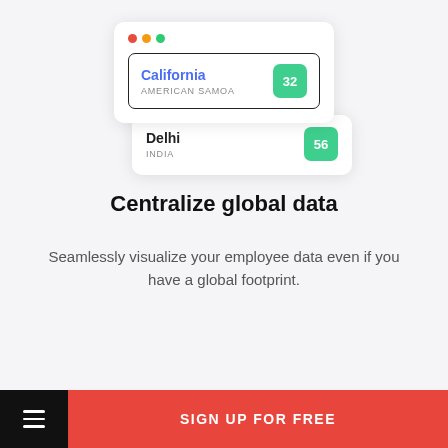[Figure (screenshot): UI mockup showing a browser-style card with two location rows: California / AMERICAN SAMOA with badge 32, and Delhi / INDIA with badge 56]
Centralize global data
Seamlessly visualize your employee data even if you have a global footprint.
SIGN UP FOR FREE